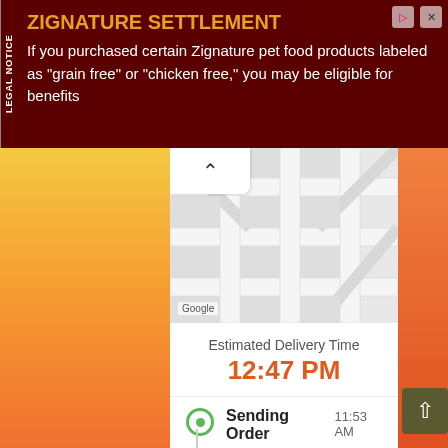[Figure (screenshot): Legal notice advertisement banner with dark red background. Title: ZIGNATURE SETTLEMENT in orange-yellow. Body text: If you purchased certain Zignature pet food products labeled as "grain free" or "chicken free," you may be eligible for benefits. Left side has vertical LEGAL NOTICE tab.]
[Figure (screenshot): Mobile app delivery tracking screen. Shows a Google Maps map at the top, then Estimated Delivery Time of 12:47 PM in orange. Below is a status list with: Sending Order (11:53 AM, active green dot) with message 'Sweet success! Street Eating Madison - 5 Tower is confirming your order.', then Preparing (inactive), then Out For Delivery (inactive). Left and right sides show gradient background (yellow to orange-red). Back chevron button top-left of app panel. Scroll-up button bottom-right.]